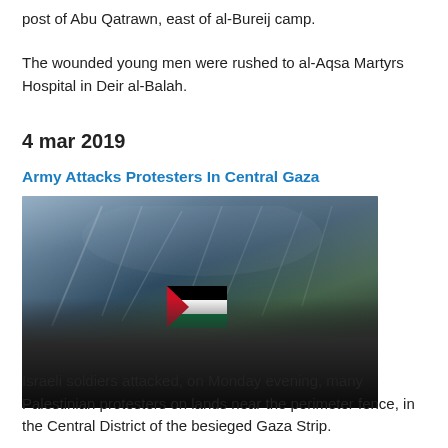post of Abu Qatrawn, east of al-Bureij camp.
The wounded young men were rushed to al-Aqsa Martyrs Hospital in Deir al-Balah.
4 mar 2019
Army Attacks Protesters In Central Gaza
[Figure (photo): Crowd of Palestinian protesters with a Palestinian flag raised, smoke trails and tear gas visible in the background sky.]
Israeli soldiers attacked, on Monday evening, many Palestinian protesters on lands near the perimeter fence, in the Central District of the besieged Gaza Strip.